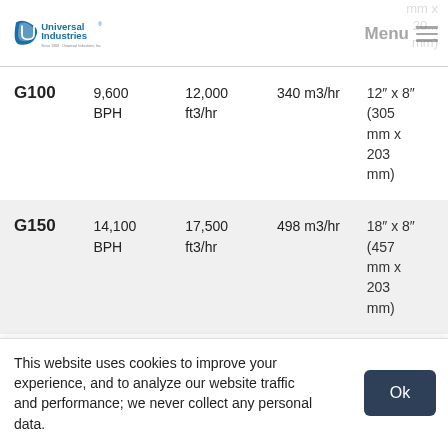Universal Industries | Menu
| Model | BPH | ft3/hr | m3/hr | Dimensions |
| --- | --- | --- | --- | --- |
| G100 | 9,600 BPH | 12,000 ft3/hr | 340 m3/hr | 12" x 8" (305 mm x 203 mm) |
| G150 | 14,100 BPH | 17,500 ft3/hr | 498 m3/hr | 18" x 8" (457 mm x 203 mm) |
Resources
This website uses cookies to improve your experience, and to analyze our website traffic and performance; we never collect any personal data.